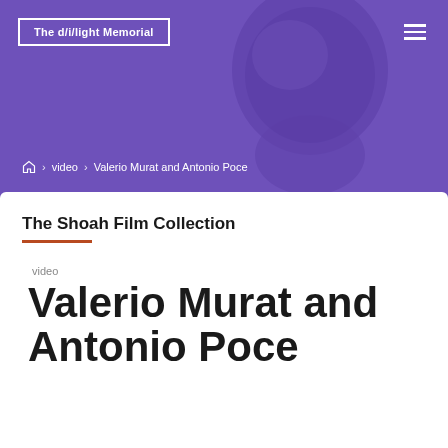[Figure (photo): Purple-toned hero image showing a blurred human head/face silhouette against a purple background]
The d/i/light Memorial
🏠 > video > Valerio Murat and Antonio Poce
The Shoah Film Collection
video
Valerio Murat and Antonio Poce